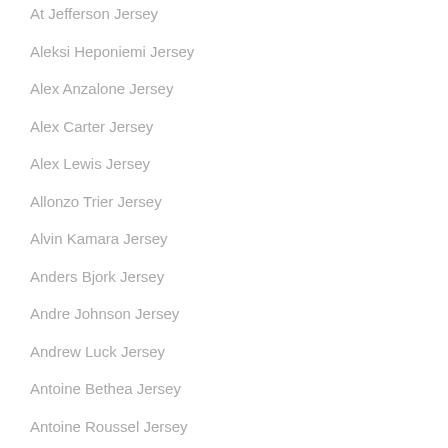At Jefferson Jersey
Aleksi Heponiemi Jersey
Alex Anzalone Jersey
Alex Carter Jersey
Alex Lewis Jersey
Allonzo Trier Jersey
Alvin Kamara Jersey
Anders Bjork Jersey
Andre Johnson Jersey
Andrew Luck Jersey
Antoine Bethea Jersey
Antoine Roussel Jersey